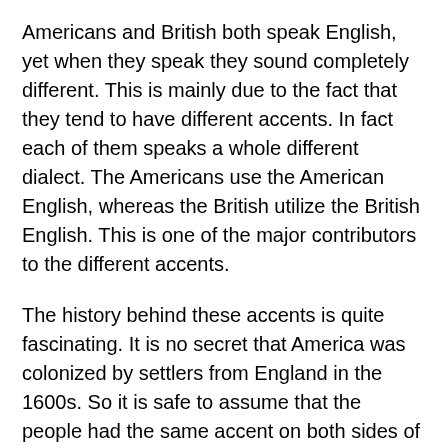Americans and British both speak English, yet when they speak they sound completely different. This is mainly due to the fact that they tend to have different accents. In fact each of them speaks a whole different dialect. The Americans use the American English, whereas the British utilize the British English. This is one of the major contributors to the different accents.
The history behind these accents is quite fascinating. It is no secret that America was colonized by settlers from England in the 1600s. So it is safe to assume that the people had the same accent on both sides of the ocean. After all, the Americans at the time came from there. Hence, it is not surprising that they did in fact have the same accent, what is surprising is the fact that that accent was closer to the American accent of today, rather than the British Accent. However, it is to be expected that after